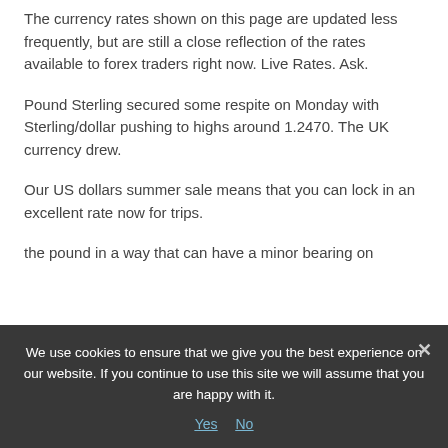The currency rates shown on this page are updated less frequently, but are still a close reflection of the rates available to forex traders right now. Live Rates. Ask.
Pound Sterling secured some respite on Monday with Sterling/dollar pushing to highs around 1.2470. The UK currency drew.
Our US dollars summer sale means that you can lock in an excellent rate now for trips.
the pound in a way that can have a minor bearing on
We use cookies to ensure that we give you the best experience on our website. If you continue to use this site we will assume that you are happy with it.